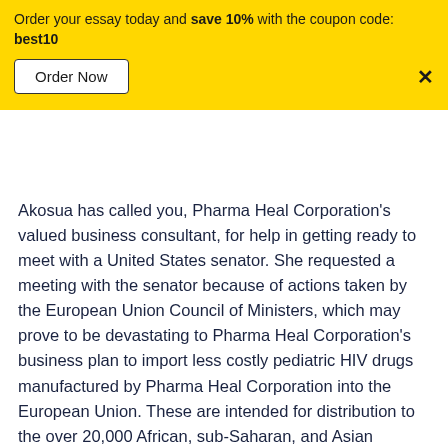Order your essay today and save 10% with the coupon code: best10
Akosua has called you, Pharma Heal Corporation's valued business consultant, for help in getting ready to meet with a United States senator. She requested a meeting with the senator because of actions taken by the European Union Council of Ministers, which may prove to be devastating to Pharma Heal Corporation's business plan to import less costly pediatric HIV drugs manufactured by Pharma Heal Corporation into the European Union. These are intended for distribution to the over 20,000 African, sub-Saharan, and Asian undocumented immigrants who arrive in Southern Europe each year. The EU measure imposes a 100% tax on pediatric HIV drugs of whose country of origin is other than one within the European Union for a former colony of an EU member in Africa or Asia. Despite advance warning that such an action was under consideration by the EU, Akosua went ahead with her recommendation to the Pharma Heal Corporation board of directors to undertake substantial investments in facilities and personnel in the EU